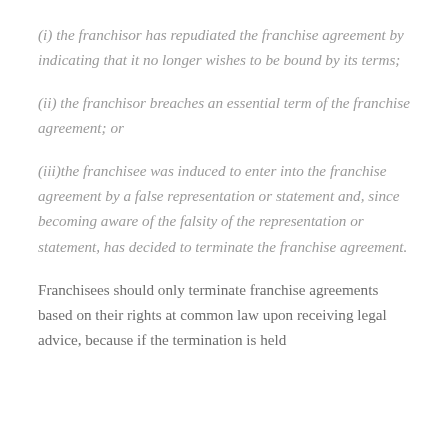(i) the franchisor has repudiated the franchise agreement by indicating that it no longer wishes to be bound by its terms;
(ii) the franchisor breaches an essential term of the franchise agreement; or
(iii)the franchisee was induced to enter into the franchise agreement by a false representation or statement and, since becoming aware of the falsity of the representation or statement, has decided to terminate the franchise agreement.
Franchisees should only terminate franchise agreements based on their rights at common law upon receiving legal advice, because if the termination is held